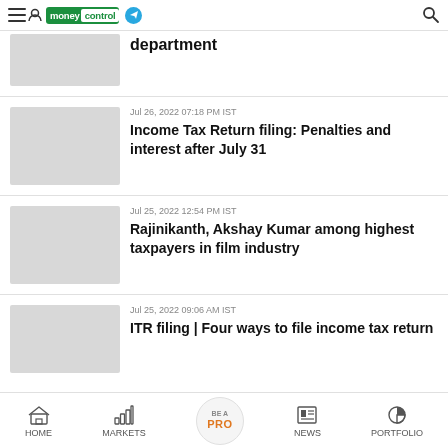moneycontrol
department
Jul 26, 2022 07:18 PM IST
Income Tax Return filing: Penalties and interest after July 31
Jul 25, 2022 12:54 PM IST
Rajinikanth, Akshay Kumar among highest taxpayers in film industry
Jul 25, 2022 09:06 AM IST
ITR filing | Four ways to file income tax return
HOME  MARKETS  BE A PRO  NEWS  PORTFOLIO